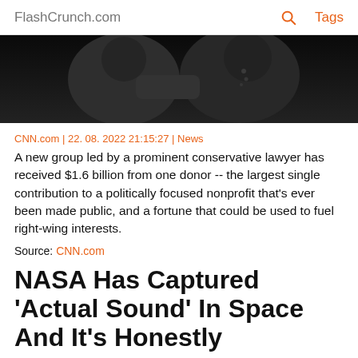FlashCrunch.com  🔍  Tags
[Figure (photo): Dark photo showing silhouettes of people, appears to be a handshake or meeting scene against a dark background]
CNN.com | 22. 08. 2022 21:15:27 | News
A new group led by a prominent conservative lawyer has received $1.6 billion from one donor -- the largest single contribution to a politically focused nonprofit that's ever been made public, and a fortune that could be used to fuel right-wing interests.
Source: CNN.com
NASA Has Captured 'Actual Sound' In Space And It's Honestly